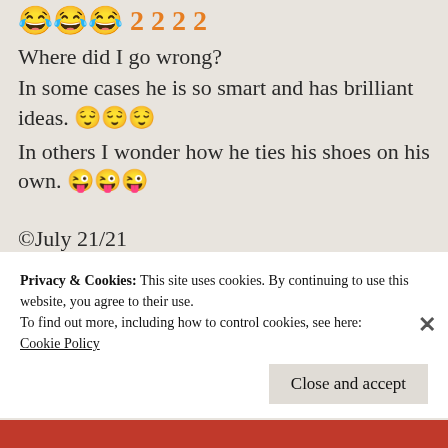😂😂😂 2️⃣2️⃣2️⃣
Where did I go wrong?
In some cases he is so smart and has brilliant ideas. 😌😌😌
In others I wonder how he ties his shoes on his own. 😜😜😜
©July 21/21
Picture via Pinterest
Advertisements
[Figure (logo): P2 logo with black square icon]
Privacy & Cookies: This site uses cookies. By continuing to use this website, you agree to their use.
To find out more, including how to control cookies, see here:
Cookie Policy
Close and accept